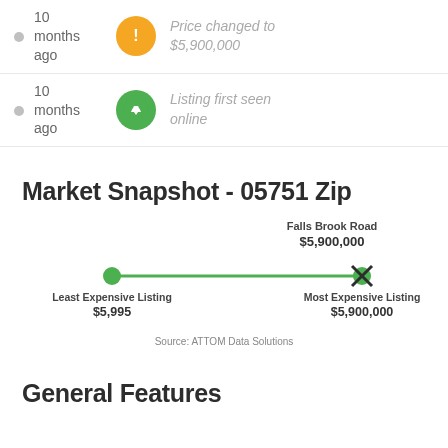10 months ago — Price changed to $5,900,000
10 months ago — Listing first seen online
Market Snapshot - 05751 Zip
[Figure (infographic): Price range bar showing Least Expensive Listing $5,995 to Most Expensive Listing $5,900,000, with Falls Brook Road marker at $5,900,000]
Source: ATTOM Data Solutions
General Features